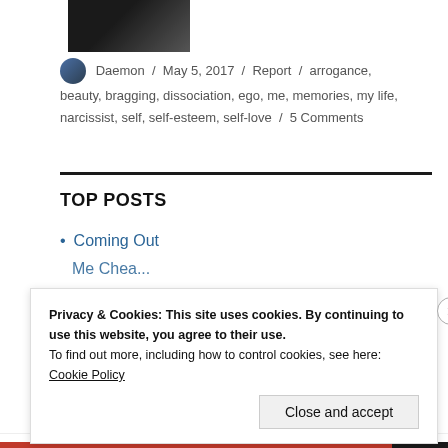[Figure (photo): Partial photo of a person at the top of the page]
Daemon / May 5, 2017 / Report / arrogance, beauty, bragging, dissociation, ego, me, memories, my life, narcissist, self, self-esteem, self-love / 5 Comments
TOP POSTS
Coming Out
Privacy & Cookies: This site uses cookies. By continuing to use this website, you agree to their use.
To find out more, including how to control cookies, see here:
Cookie Policy
Close and accept